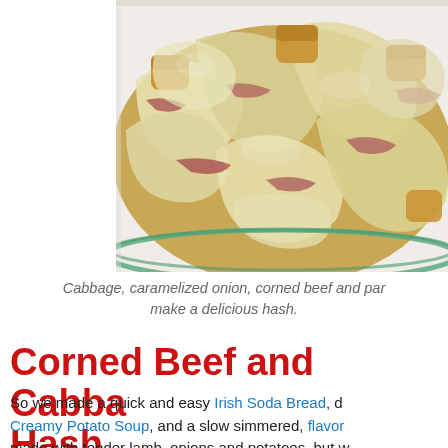[Figure (photo): A glass baking dish filled with corned beef and cabbage hash, showing caramelized onions, shredded corned beef, cabbage leaves, and browned potato chunks. The dish has a teal/green glass rim visible at the bottom.]
Cabbage, caramelized onion, corned beef and pan... make a delicious hash.
Corned Beef and Cabbage Hash
So we made a quick and easy Irish Soda Bread, d... Creamy Potato Soup, and a slow simmered, flavor... made with tender lamb, onions and potatoes, but w...